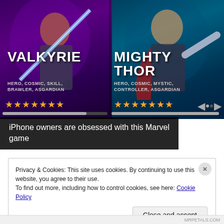[Figure (screenshot): Marvel game advertisement showing two characters: Valkyrie (HERO, COSMIC, SKILL, BRAWLER, ASGARDIAN) with 7 stars on the left, and Mighty Thor (HERO, COSMIC, MYSTIC, CONTROLLER, ASGARDIAN) with 7 stars on the right. Purple background on left, teal/dark background on right.]
iPhone owners are obsessed with this Marvel game
Privacy & Cookies: This site uses cookies. By continuing to use this website, you agree to their use.
To find out more, including how to control cookies, see here: Cookie Policy
Close and accept